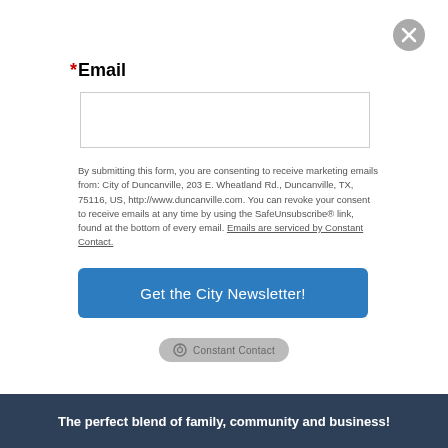[Figure (other): Gray circular close/X button in top-right corner]
*Email
[Figure (other): Empty text input field for email address]
By submitting this form, you are consenting to receive marketing emails from: City of Duncanville, 203 E. Wheatland Rd., Duncanville, TX, 75116, US, http://www.duncanville.com. You can revoke your consent to receive emails at any time by using the SafeUnsubscribe® link, found at the bottom of every email. Emails are serviced by Constant Contact.
[Figure (other): Blue button labeled 'Get the City Newsletter!']
[Figure (logo): Constant Contact badge/logo in gray pill shape]
The perfect blend of family, community and business!